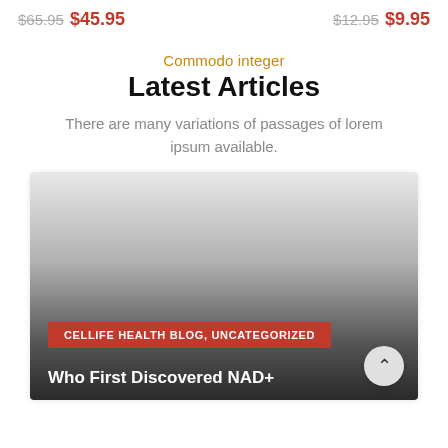$65.95 $45.95   $12.95 $9.95
Commodo integer
Latest Articles
There are many variations of passages of lorem ipsum available.
[Figure (photo): Article card image with gradient from light gray to dark gray/black, with a red category tag reading 'CELLIFE HEALTH BLOG, UNCATEGORIZED' and a white title 'Who First Discovered NAD+' at the bottom]
CELLIFE HEALTH BLOG, UNCATEGORIZED
Who First Discovered NAD+